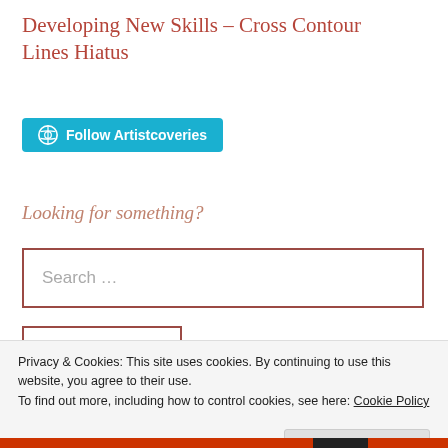Developing New Skills – Cross Contour Lines Hiatus
[Figure (other): Follow Artistcoveries button in teal/cyan color with WordPress icon]
Looking for something?
Search …
Search
Privacy & Cookies: This site uses cookies. By continuing to use this website, you agree to their use. To find out more, including how to control cookies, see here: Cookie Policy
Close and accept